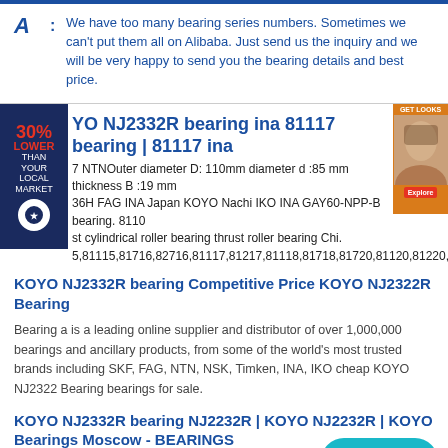A: We have too many bearing series numbers. Sometimes we can't put them all on Alibaba. Just send us the inquiry and we will be very happy to send you the bearing details and best price.
KOYO NJ2332R bearing ina 81117 bearing | 81117 ina
7 NTNOuter diameter D: 110mm diameter d :85 mm thickness B :19 mm 36H FAG INA Japan KOYO Nachi IKO INA GAY60-NPP-B bearing. 8110 st cylindrical roller bearing thrust roller bearing Chi. 5,81115,81716,82716,81117,81217,81118,81718,81720,81120,81220,89320,81 ndong Xurite Bearing CO.,LTD also export SKF , FAG , NSK , TIM
KOYO NJ2332R bearing Competitive Price KOYO NJ2322R Bearing
Bearing a is a leading online supplier and distributor of over 1,000,000 bearings and ancillary products, from some of the world's most trusted brands including SKF, FAG, NTN, NSK, Timken, INA, IKO cheap KOYO NJ2322 Bearing bearings for sale.
KOYO NJ2332R bearing NJ2232R | KOYO NJ2232R | KOYO Bearings Moscow - BEARINGS
NJ2232R+HJ2232R KOYO bearing is widely used in. GET KOYO NJ2232R Bearings. We have more than ten years history on prodcing